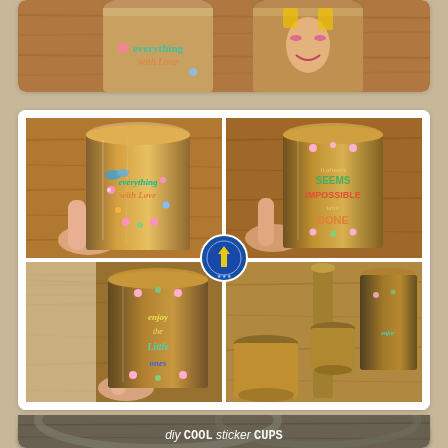[Figure (photo): Partial top view of decorated metallic cups on a wooden surface, partially cropped]
[Figure (photo): Four-panel collage showing gold/metallic cups decorated with colorful floral vinyl sticker designs. Top-left cup reads 'everything with Love', top-right reads 'it always seems impossible until done', bottom-left reads 'enjoy the little ones'. Bottom-right shows cups in a candle holder arrangement. A blue circular badge/watermark overlays the center.]
[Figure (photo): Partial bottom image showing metallic mason jar lids with text overlay reading 'diy cool sticker cups']